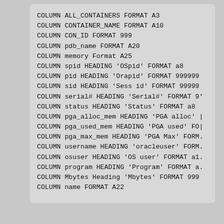COLUMN ALL_CONTAINERS FORMAT A3
COLUMN CONTAINER_NAME FORMAT A10
COLUMN CON_ID FORMAT 999
COLUMN pdb_name FORMAT A20
COLUMN memory Format A25
COLUMN spid HEADING 'OSpid' FORMAT a8
COLUMN pid HEADING 'Orapid' FORMAT 999999
COLUMN sid HEADING 'Sess id' FORMAT 99999
COLUMN serial# HEADING 'Serial#' FORMAT 9'
COLUMN status HEADING 'Status' FORMAT a8
COLUMN pga_alloc_mem HEADING 'PGA alloc' |
COLUMN pga_used_mem HEADING 'PGA used' FO|
COLUMN pga_max_mem HEADING 'PGA Max' FORM.
COLUMN username HEADING 'oracleuser' FORM.
COLUMN osuser HEADING 'OS user' FORMAT a1.
COLUMN program HEADING 'Program' FORMAT a.
COLUMN Mbytes Heading 'Mbytes' FORMAT 999
COLUMN name FORMAT A22